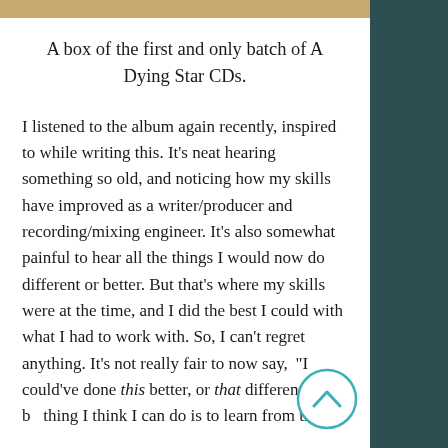A box of the first and only batch of A Dying Star CDs.
I listened to the album again recently, inspired to while writing this. It's neat hearing something so old, and noticing how my skills have improved as a writer/producer and recording/mixing engineer. It's also somewhat painful to hear all the things I would now do different or better. But that's where my skills were at the time, and I did the best I could with what I had to work with. So, I can't regret anything. It's not really fair to now say, "I could've done this better, or that different." The best thing I think I can do is to learn from the